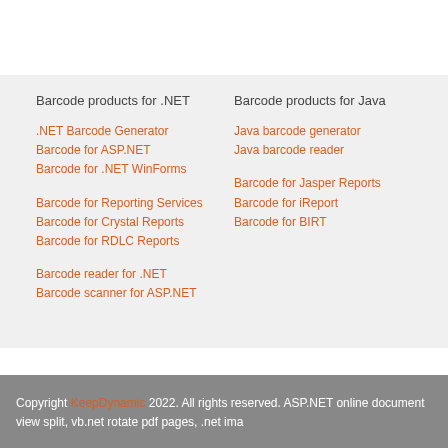Barcode products for .NET
.NET Barcode Generator
Barcode for ASP.NET
Barcode for .NET WinForms
Barcode for Reporting Services
Barcode for Crystal Reports
Barcode for RDLC Reports
Barcode reader for .NET
Barcode scanner for ASP.NET
Barcode products for Java
Java barcode generator
Java barcode reader
Barcode for Jasper Reports
Barcode for iReport
Barcode for BIRT
Copyright KeepDynamic 2022. All rights reserved. ASP.NET online document view split, vb.net rotate pdf pages, .net ima